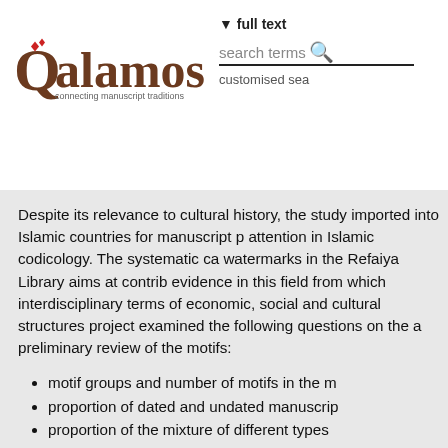[Figure (logo): Qalamos logo with red diamond decorations on the Q letter, followed by 'Qalamos' in brown serif font and tagline 'connecting manuscript traditions']
▾ full text
search terms 🔍
customised sea
Despite its relevance to cultural history, the study imported into Islamic countries for manuscript p attention in Islamic codicology. The systematic ca watermarks in the Refaiya Library aims at contrib evidence in this field from which interdisciplinary terms of economic, social and cultural structures project examined the following questions on the a preliminary review of the motifs:
motif groups and number of motifs in the m
proportion of dated and undated manuscrip
proportion of the mixture of different types
European production sites that exported pa
watermarks as a means of dating undated m